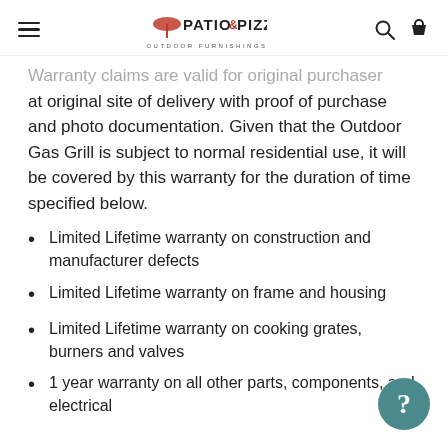Patio & Pizza Outdoor Furnishings
Warranty claims are valid for original purchaser at original site of delivery with proof of purchase and photo documentation. Given that the Outdoor Gas Grill is subject to normal residential use, it will be covered by this warranty for the duration of time specified below.
Limited Lifetime warranty on construction and manufacturer defects
Limited Lifetime warranty on frame and housing
Limited Lifetime warranty on cooking grates, burners and valves
1 year warranty on all other parts, components, and electrical